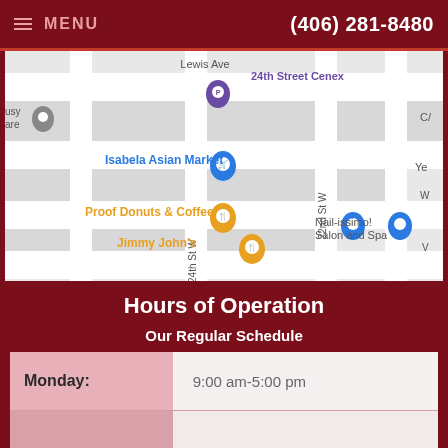MENU  (406) 281-8480
[Figure (map): Google Maps screenshot showing street map with markers for 24th Street Cenex, Isabela Asian Market, Proof Donuts & Coffee, Jimmy John's, Nail-issimo! Salon and Spa. Streets include Lewis Ave, 24th St W, 22nd St W.]
Hours of Operation
Our Regular Schedule
| Day | Hours |
| --- | --- |
| Monday: | 9:00 am-5:00 pm |
|  |  |